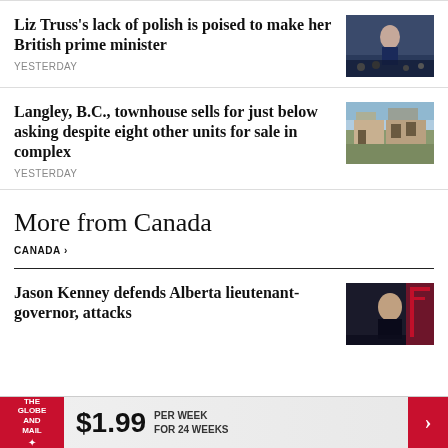Liz Truss's lack of polish is poised to make her British prime minister
YESTERDAY
[Figure (photo): Photo of Liz Truss on stage]
Langley, B.C., townhouse sells for just below asking despite eight other units for sale in complex
YESTERDAY
[Figure (photo): Photo of a townhouse complex in Langley, B.C.]
More from Canada
CANADA ›
Jason Kenney defends Alberta lieutenant-governor, attacks
[Figure (photo): Photo of Jason Kenney]
[Figure (logo): The Globe and Mail logo with subscription offer: $1.99 per week for 24 weeks]